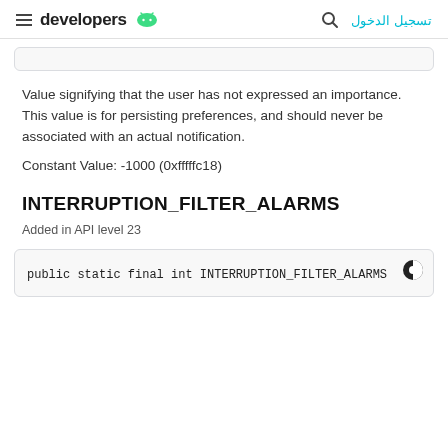developers [android logo] [search icon] تسجيل الدخول
Value signifying that the user has not expressed an importance. This value is for persisting preferences, and should never be associated with an actual notification.
Constant Value: -1000 (0xfffffc18)
INTERRUPTION_FILTER_ALARMS
Added in API level 23
public static final int INTERRUPTION_FILTER_ALARMS